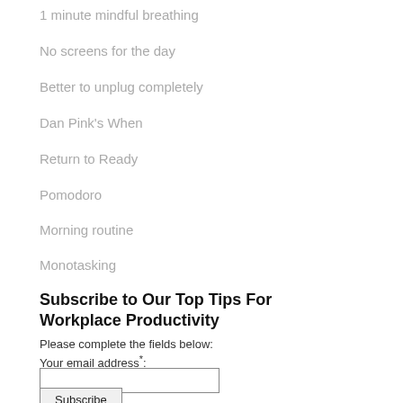1 minute mindful breathing
No screens for the day
Better to unplug completely
Dan Pink's When
Return to Ready
Pomodoro
Morning routine
Monotasking
Subscribe to Our Top Tips For Workplace Productivity
Please complete the fields below:
Your email address*: